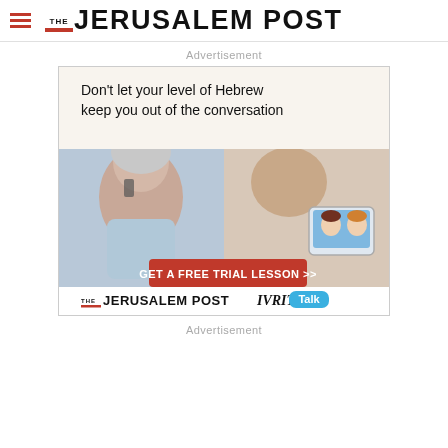THE JERUSALEM POST
Advertisement
[Figure (illustration): Advertisement banner for The Jerusalem Post IVRIT Talk Hebrew language lessons. Text reads: Don't let your level of Hebrew keep you out of the conversation. Shows an elderly woman on the phone smiling and a person holding a tablet with children on screen. Red button: GET A FREE TRIAL LESSON >>. Bottom branding: THE JERUSALEM POST IVRIT Talk.]
Advertisement